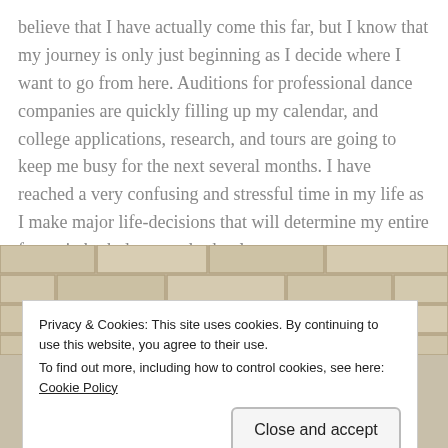believe that I have actually come this far, but I know that my journey is only just beginning as I decide where I want to go from here. Auditions for professional dance companies are quickly filling up my calendar, and college applications, research, and tours are going to keep me busy for the next several months. I have reached a very confusing and stressful time in my life as I make major life-decisions that will determine my entire future in both dance and school.
[Figure (photo): A brick wall background with a person partially visible at the bottom center.]
Privacy & Cookies: This site uses cookies. By continuing to use this website, you agree to their use.
To find out more, including how to control cookies, see here: Cookie Policy
Close and accept